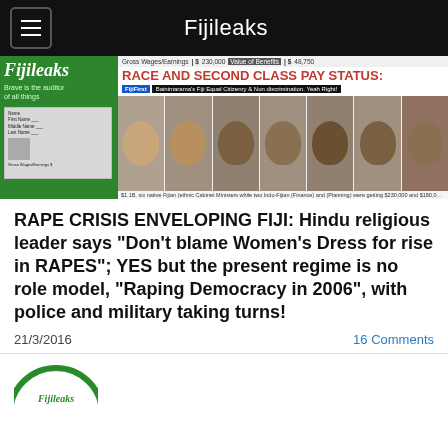Fijileaks
[Figure (screenshot): Fijileaks banner showing 'RACE AND SECOND CLASS PAY STATUS:' headline with photos of cabinet ministers and Bainimarama's Fiji Equal Citizenry and Non-discrimination text]
RAPE CRISIS ENVELOPING FIJI: Hindu religious leader says "Don't blame Women's Dress for rise in RAPES"; YES but the present regime is no role model, "Raping Democracy in 2006", with police and military taking turns!
21/3/2016
16 Comments
[Figure (logo): Fijileaks circular green logo partially visible at bottom of page]